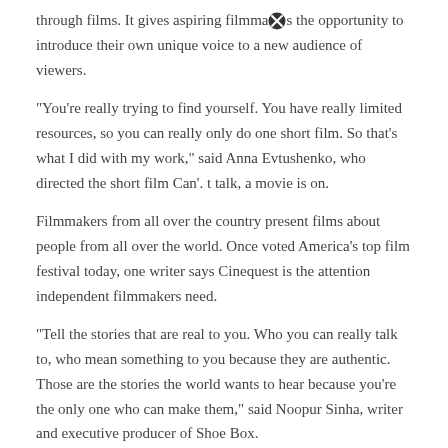through films. It gives aspiring filmmakers the opportunity to introduce their own unique voice to a new audience of viewers.
"You're really trying to find yourself. You have really limited resources, so you can really only do one short film. So that's what I did with my work," said Anna Evtushenko, who directed the short film Can'. t talk, a movie is on.
Filmmakers from all over the country present films about people from all over the world. Once voted America's top film festival today, one writer says Cinequest is the attention independent filmmakers need.
"Tell the stories that are real to you. Who you can really talk to, who mean something to you because they are authentic. Those are the stories the world wants to hear because you're the only one who can make them," said Noopur Sinha, writer and executive producer of Shoe Box.
The Cinequest Film Festival runs through Monday, August 29 in San Jose. Visit cinequest.org for more information on screening times and tickets